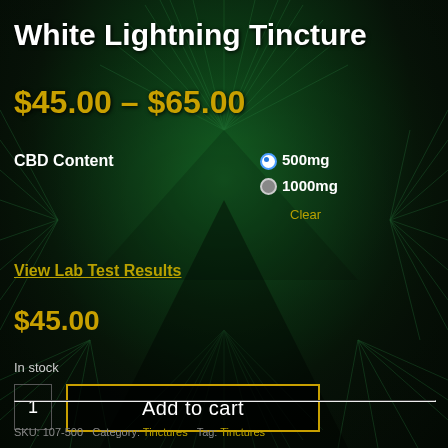White Lightning Tincture
$45.00 – $65.00
CBD Content
500mg (selected)
1000mg
Clear
View Lab Test Results
$45.00
In stock
1
Add to cart
SKU: 107-500  Category: Tinctures  Tag: Tinctures